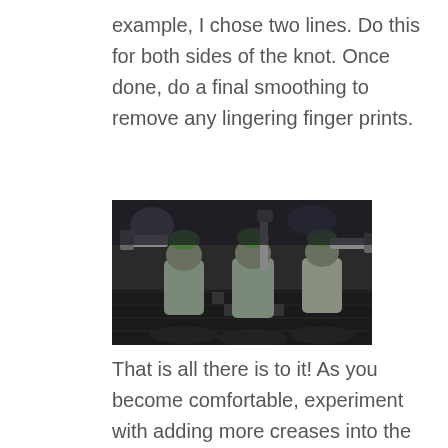example, I chose two lines. Do this for both sides of the knot. Once done, do a final smoothing to remove any lingering finger prints.
[Figure (photo): Three partially painted Ork Boyz wargaming miniatures with green sculpted hair/mohawks, holding weapons, on circular bases, displayed on a gridded cutting mat with dark background.]
That is all there is to it! As you become comfortable, experiment with adding more creases into the cap or differences in the ends. It is an easy way to modify your miniature